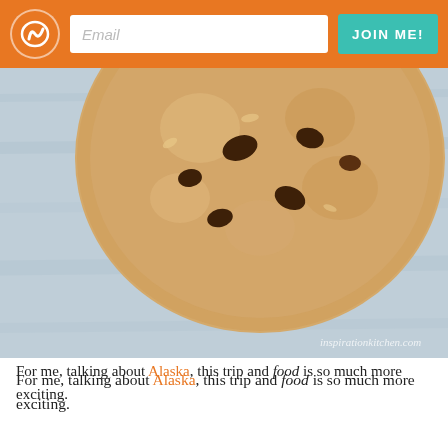Email | JOIN ME!
[Figure (photo): Close-up photo of a chocolate chip cookie on a weathered blue/grey wooden surface. Watermark reads inspirationkitchen.com]
For me, talking about Alaska, this trip and food is so much more exciting.
But, do you know what I *do* know for sure? I know that I'm sssooo ready to try Alaska's amazing food and taste-test beers and spirits. I say, "Bring it on! With the right clothing, shoes or not, I am *so* there.
And, with my Alaska trip upon us (and all the whining reminding me), I knew I had to make The Husband's